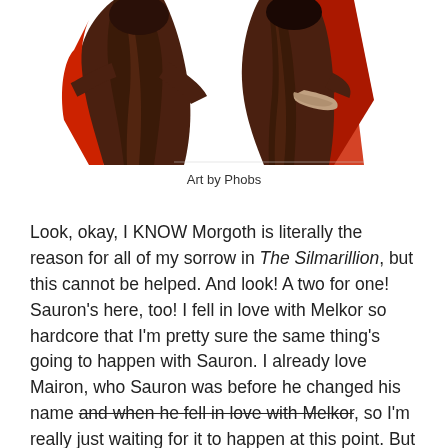[Figure (illustration): Fan art illustration showing two figures in dark robes/cloaks, one with a red accent, rendered in a stylized drawing style. Art credited to Phobs.]
Art by Phobs
Look, okay, I KNOW Morgoth is literally the reason for all of my sorrow in The Silmarillion, but this cannot be helped. And look! A two for one! Sauron's here, too! I fell in love with Melkor so hardcore that I'm pretty sure the same thing's going to happen with Sauron. I already love Mairon, who Sauron was before he changed his name and when he fell in love with Melkor, so I'm really just waiting for it to happen at this point. But Morgoth! Melkor!